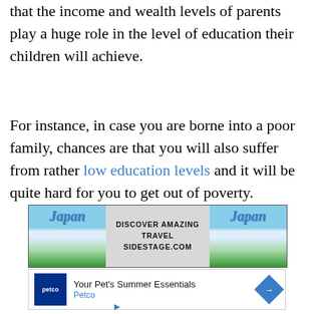that the income and wealth levels of parents play a huge role in the level of education their children will achieve.
For instance, in case you are borne into a poor family, chances are that you will also suffer from rather low education levels and it will be quite hard for you to get out of poverty.
[Figure (other): Japan travel advertisement banner showing Japanese pagoda with Mount Fuji, text: DISCOVER AMAZING TRAVEL SIDESTAGE.COM]
[Figure (other): Petco advertisement: Your Pet's Summer Essentials - Petco, with Petco logo and navigation arrow]